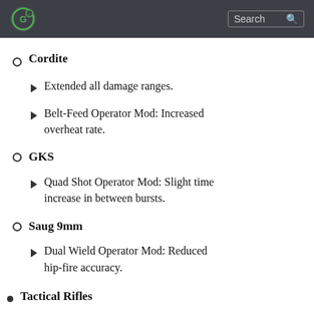Search
Cordite
Extended all damage ranges.
Belt-Feed Operator Mod: Increased overheat rate.
GKS
Quad Shot Operator Mod: Slight time increase in between bursts.
Saug 9mm
Dual Wield Operator Mod: Reduced hip-fire accuracy.
Tactical Rifles